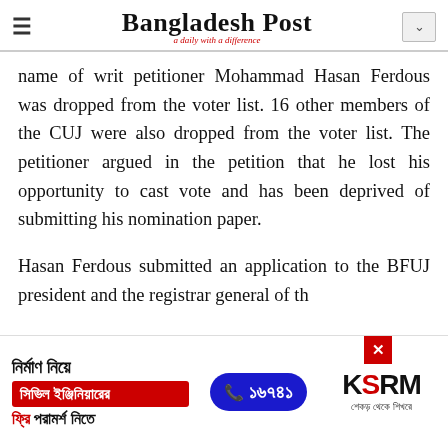Bangladesh Post — a daily with a difference
name of writ petitioner Mohammad Hasan Ferdous was dropped from the voter list. 16 other members of the CUJ were also dropped from the voter list. The petitioner argued in the petition that he lost his opportunity to cast vote and has been deprived of submitting his nomination paper.
Hasan Ferdous submitted an application to the BFUJ president and the registrar general of th
[Figure (advertisement): KSRM advertisement in Bengali with phone number 16741, text about civil engineer consultation, with red and blue branding]